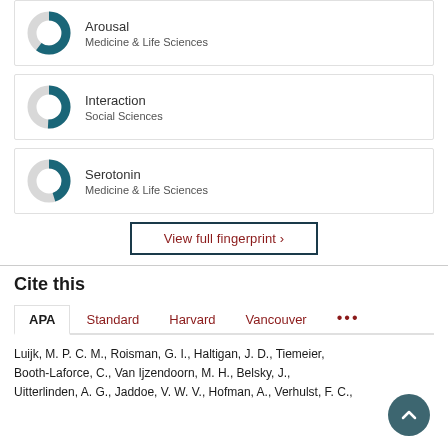[Figure (donut-chart): Partial donut chart icon for 'Arousal' fingerprint item, teal color, approximately 60% filled]
Arousal
Medicine & Life Sciences
[Figure (donut-chart): Partial donut chart icon for 'Interaction' fingerprint item, teal color, approximately 50% filled]
Interaction
Social Sciences
[Figure (donut-chart): Partial donut chart icon for 'Serotonin' fingerprint item, teal color, approximately 45% filled]
Serotonin
Medicine & Life Sciences
View full fingerprint ›
Cite this
APA  Standard  Harvard  Vancouver  ...
Luijk, M. P. C. M., Roisman, G. I., Haltigan, J. D., Tiemeier, ..., Booth-Laforce, C., Van Ijzendoorn, M. H., Belsky, J., Uitterlinden, A. G., Jaddoe, V. W. V., Hofman, A., Verhulst, F. C.,